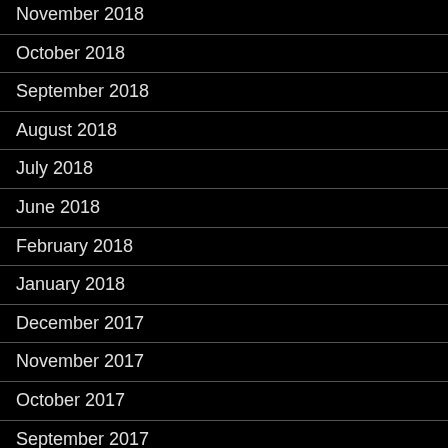November 2018
October 2018
September 2018
August 2018
July 2018
June 2018
February 2018
January 2018
December 2017
November 2017
October 2017
September 2017
August 2017